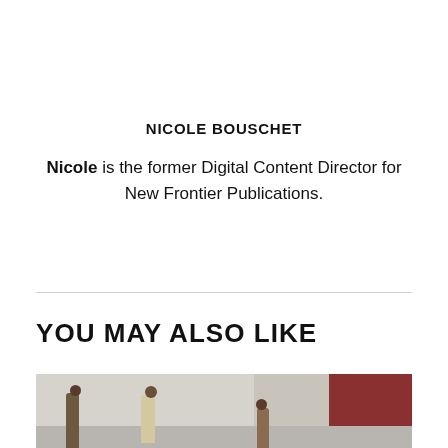NICOLE BOUSCHET
Nicole is the former Digital Content Director for New Frontier Publications.
YOU MAY ALSO LIKE
[Figure (photo): Outdoor street scene showing people gathering near a white wall, with a red building in the background.]